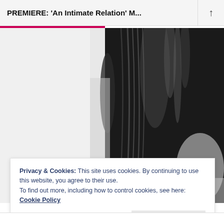PREMIERE: ‘An Intimate Relation’ M...
[Figure (photo): Black and white close-up photo of a person from behind, wearing a dark jacket, with long dark hair visible]
Privacy & Cookies: This site uses cookies. By continuing to use this website, you agree to their use.
To find out more, including how to control cookies, see here: Cookie Policy
Close and accept